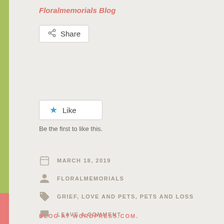Floralmemorials Blog
[Figure (other): Share button with share icon]
[Figure (other): Like button with star icon]
Be the first to like this.
MARCH 18, 2019
FLORALMEMORIALS
GRIEF, LOVE AND PETS, PETS AND LOSS
LEAVE A COMMENT
BLOG AT WORDPRESS.COM.